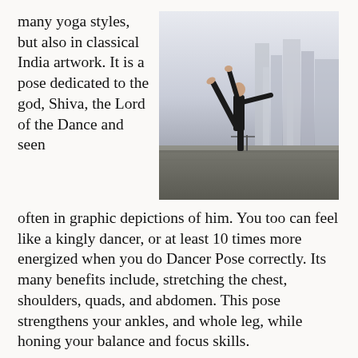many yoga styles, but also in classical India artwork. It is a pose dedicated to the god, Shiva, the Lord of the Dance and seen often in graphic depictions of him. You too can feel like a kingly dancer, or at least 10 times more energized when you do Dancer Pose correctly. Its many benefits include, stretching the chest, shoulders, quads, and abdomen. This pose strengthens your ankles, and whole leg, while honing your balance and focus skills.
[Figure (photo): A person in dancer yoga pose balanced on one leg with the other leg raised high behind them, arms extended, on a rooftop overlooking a city skyline]
Get into the Groove